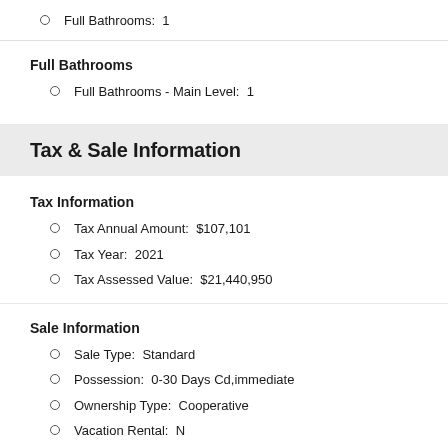Full Bathrooms:  1
Full Bathrooms
Full Bathrooms - Main Level:  1
Tax & Sale Information
Tax Information
Tax Annual Amount:  $107,101
Tax Year:  2021
Tax Assessed Value:  $21,440,950
Sale Information
Sale Type:  Standard
Possession:  0-30 Days Cd,immediate
Ownership Type:  Cooperative
Vacation Rental:  N